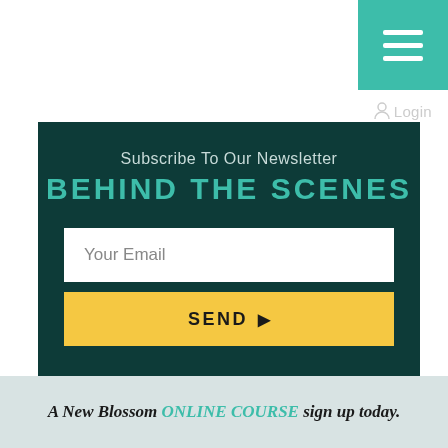[Figure (screenshot): Teal hamburger menu button in top-right corner]
Login
Subscribe To Our Newsletter
BEHIND THE SCENES
Your Email
SEND ▶
A New Blossom ONLINE COURSE sign up today.